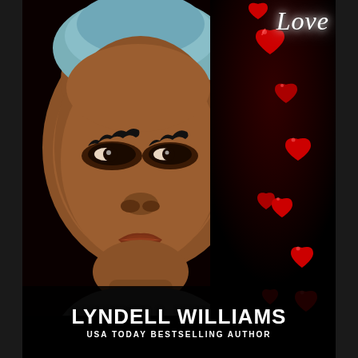[Figure (illustration): Book cover featuring a close-up portrait of a Black woman wearing a headwrap, with red hearts floating on the dark right side of the cover. The word 'Love' appears in white script cursive at the top right. Author name and byline appear at the bottom.]
Love
LYNDELL WILLIAMS
USA TODAY BESTSELLING AUTHOR